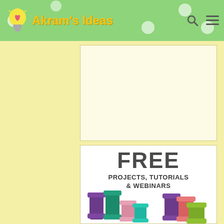Akram's Ideas
[Figure (other): Advertisement placeholder box with light yellow background]
[Figure (illustration): Promotional banner: FREE PROJECTS, TUTORIALS & WEBINARS with thread spools]